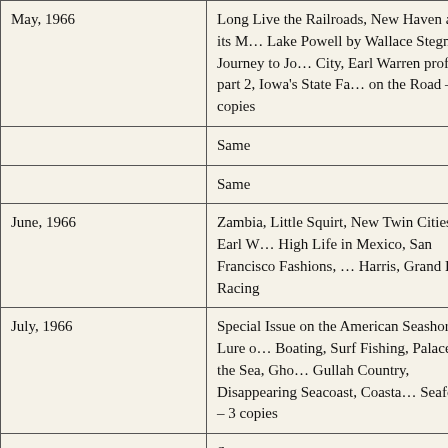| Date | Contents |
| --- | --- |
| May, 1966 | Long Live the Railroads, New Haven and its M… Lake Powell by Wallace Stegner, Journey to Jo… City, Earl Warren profile part 2, Iowa's State Fa… on the Road – 3 copies |
|  | Same |
|  | Same |
| June, 1966 | Zambia, Little Squirt, New Twin Cities, Earl W… High Life in Mexico, San Francisco Fashions, … Harris, Grand Prix Racing |
| July, 1966 | Special Issue on the American Seashore. Lure o… Boating, Surf Fishing, Palaces by the Sea, Gho… Gullah Country, Disappearing Seacoast, Coasta… Seafood – 3 copies |
|  | Same |
| August, 1966 | The Danube. Steamboat Cruise, On Cars and S… by John O'Hara, Chapel Hill NC, Frenchm… |